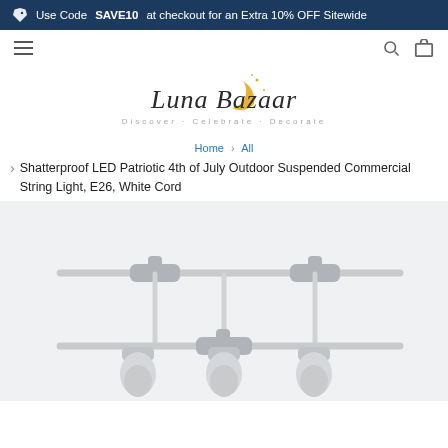Use Code SAVE10 at checkout for an Extra 10% OFF Sitewide
[Figure (logo): Luna Bazaar logo with crescent moon and stars. Tagline: Discover · Celebrate · Decorate]
Home > All
Shatterproof LED Patriotic 4th of July Outdoor Suspended Commercial String Light, E26, White Cord
[Figure (photo): Close-up photo of white commercial string lights with suspended socket fixtures on a white cord]